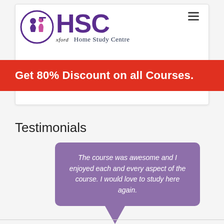[Figure (logo): Oxford Home Study Centre (HSC) logo with circular emblem and purple HSC lettering]
Get 80% Discount on all Courses.
Testimonials
The course was awesome and I enjoyed each and every aspect of the course. I would love to study here again.